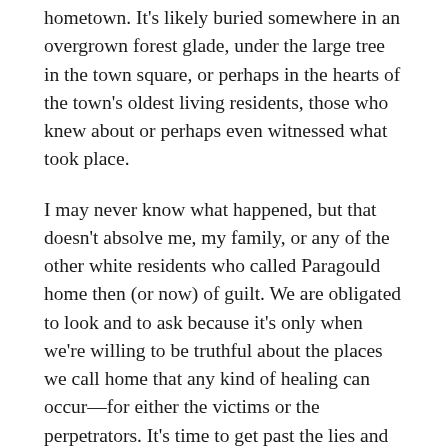hometown. It's likely buried somewhere in an overgrown forest glade, under the large tree in the town square, or perhaps in the hearts of the town's oldest living residents, those who knew about or perhaps even witnessed what took place.
I may never know what happened, but that doesn't absolve me, my family, or any of the other white residents who called Paragould home then (or now) of guilt. We are obligated to look and to ask because it's only when we're willing to be truthful about the places we call home that any kind of healing can occur—for either the victims or the perpetrators. It's time to get past the lies and half-truths, to stop pushing what we'd rather not admit under the rug. It's time to have an honest conversation about our country's history when it comes to race. We've let those sleeping dogs lie for far too long.